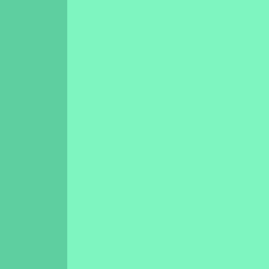Night …
You
Top 3 EP's:
Bla…
La…
M.…
Best Re-iss…
Ro…
Best Box-s…
Ro…
Best Come…
Pa…
Best Spani…
Lo…
Or…